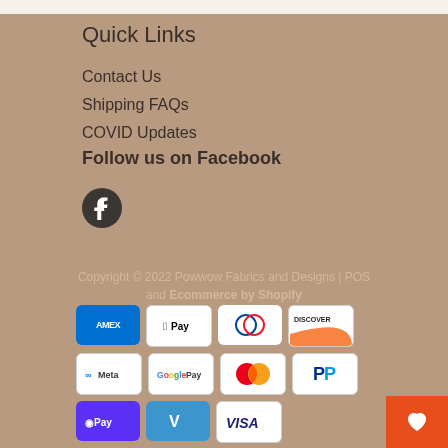Quick Links
Contact Us
Shipping FAQs
COVID Updates
Follow us on Facebook
[Figure (logo): Facebook icon circle]
Copyright © 2022 Powwow Fabrics and Designs | POS and Ecommerce by Shopify
[Figure (infographic): Payment method icons: AMEX, Apple Pay, Diners Club, Discover, Meta Pay, Google Pay, Mastercard, PayPal, Shop Pay, Venmo, Visa]